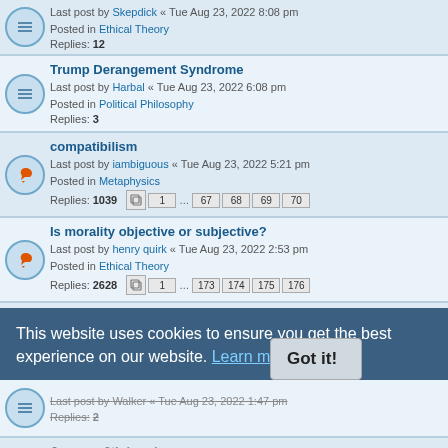Last post by Skepdick « Tue Aug 23, 2022 8:08 pm
Posted in Ethical Theory
Replies: 12
Trump Derangement Syndrome
Last post by Harbal « Tue Aug 23, 2022 6:08 pm
Posted in Political Philosophy
Replies: 3
compatibilism
Last post by iambiguous « Tue Aug 23, 2022 5:21 pm
Posted in Metaphysics
Replies: 1039  pages: 1 ... 67 68 69 70
Is morality objective or subjective?
Last post by henry quirk « Tue Aug 23, 2022 2:53 pm
Posted in Ethical Theory
Replies: 2628  pages: 1 ... 173 174 175 176
The Wizard of God/OZ Movie/Story
Last post by Dontaskme « Tue Aug 23, 2022 2:22 pm
Posted in Philosophy of Religion
Replies: 3
Last post by Walker « Tue Aug 23, 2022 1:47 pm
Replies: 2
January 6th hearings
Last post by Walker « Tue Aug 23, 2022 1:30 pm
Posted in Political Philosophy
Replies: 51  pages: 1 2 3 4
Got any good jokes?
This website uses cookies to ensure you get the best experience on our website. Learn more
Got it!